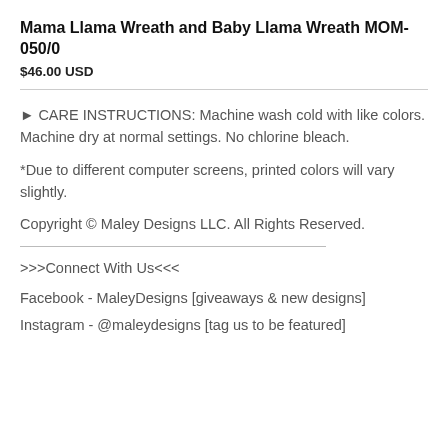Mama Llama Wreath and Baby Llama Wreath MOM-050/0
$46.00 USD
► CARE INSTRUCTIONS: Machine wash cold with like colors. Machine dry at normal settings. No chlorine bleach.
*Due to different computer screens, printed colors will vary slightly.
Copyright © Maley Designs LLC. All Rights Reserved.
>>>Connect With Us<<<
Facebook - MaleyDesigns [giveaways & new designs]
Instagram - @maleydesigns [tag us to be featured]